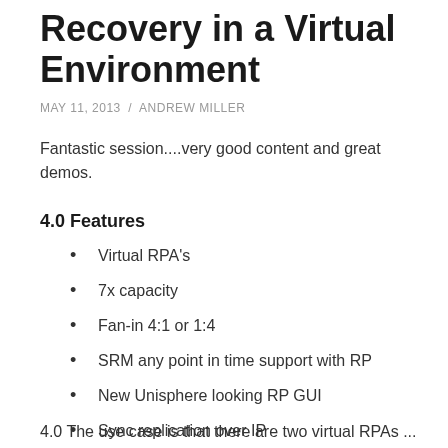Recovery in a Virtual Environment
MAY 11, 2013  /  ANDREW MILLER
Fantastic session....very good content and great demos.
4.0 Features
Virtual RPA's
7x capacity
Fan-in 4:1 or 1:4
SRM any point in time support with RP
New Unisphere looking RP GUI
Sync replication over IP
4.0 The use case is that there are two virtual RPAs...